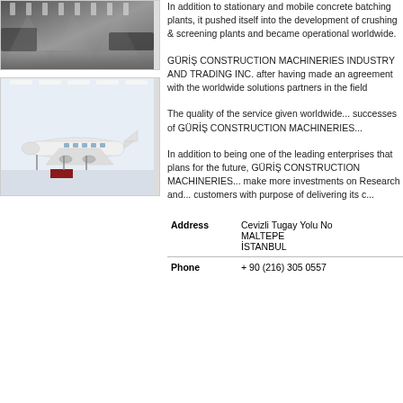[Figure (photo): Interior photo of industrial facility with overhead lighting]
[Figure (photo): White private jet aircraft parked inside a large hangar with bright lighting and red carpet]
In addition to stationary and mobile concrete batching plants, it pushed itself into the development of crushing & screening plants and became operational worldwide.
GÜRİŞ CONSTRUCTION MACHINERIES INDUSTRY AND TRADING INC. after having made an agreement with the worldwide solutions partners in the field...
The quality of the service given worldwide... successes of GÜRİŞ CONSTRUCTION MACHINERIES...
In addition to being one of the leading enterprises that plans for the future, GÜRİŞ CONSTRUCTION MACHINERIES... make more investments on Research and... customers with purpose of delivering its...
| Field | Value |
| --- | --- |
| Address | Cevizli Tugay Yolu No...
MALTEPE
İSTANBUL |
| Phone | + 90 (216) 305 0557 |